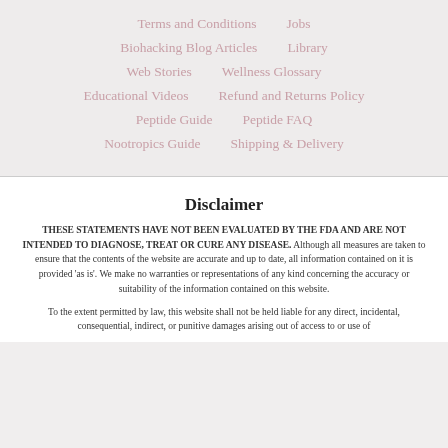Terms and Conditions
Jobs
Biohacking Blog Articles
Library
Web Stories
Wellness Glossary
Educational Videos
Refund and Returns Policy
Peptide Guide
Peptide FAQ
Nootropics Guide
Shipping & Delivery
Disclaimer
THESE STATEMENTS HAVE NOT BEEN EVALUATED BY THE FDA AND ARE NOT INTENDED TO DIAGNOSE, TREAT OR CURE ANY DISEASE. Although all measures are taken to ensure that the contents of the website are accurate and up to date, all information contained on it is provided 'as is'. We make no warranties or representations of any kind concerning the accuracy or suitability of the information contained on this website.
To the extent permitted by law, this website shall not be held liable for any direct, incidental, consequential, indirect, or punitive damages arising out of access to or use of